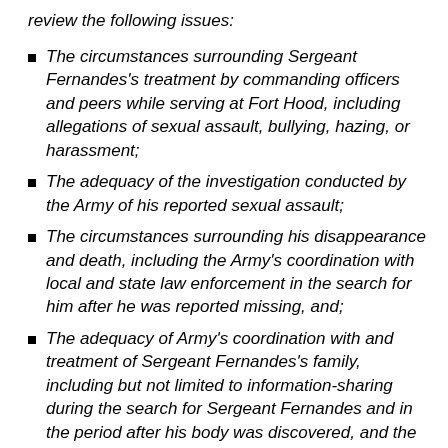review the following issues:
The circumstances surrounding Sergeant Fernandes's treatment by commanding officers and peers while serving at Fort Hood, including allegations of sexual assault, bullying, hazing, or harassment;
The adequacy of the investigation conducted by the Army of his reported sexual assault;
The circumstances surrounding his disappearance and death, including the Army's coordination with local and state law enforcement in the search for him after he was reported missing, and;
The adequacy of Army's coordination with and treatment of Sergeant Fernandes's family, including but not limited to information-sharing during the search for Sergeant Fernandes and in the period after his body was discovered, and the release of his medical